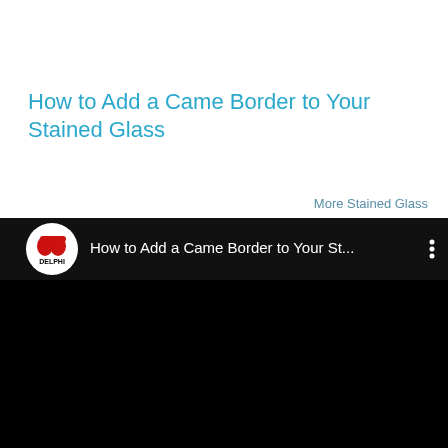How to Add a Came Border to Your Stained Glass
More Stained Glass
[Figure (screenshot): Embedded YouTube video player showing 'How to Add a Came Border to Your St...' with Delphi channel logo, dark/black background, video controls bar at top with channel icon and three-dot menu]